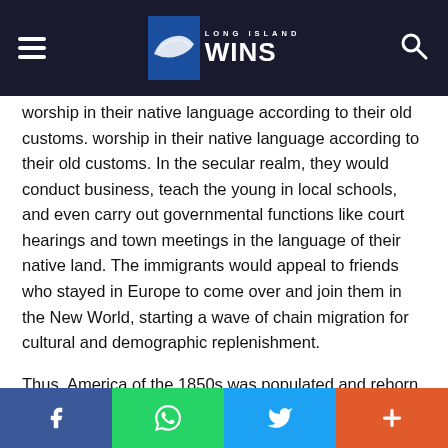Long Island Wins
worship in their native language according to their old customs. In the secular realm, they would conduct business, teach the young in local schools, and even carry out governmental functions like court hearings and town meetings in the language of their native land. The immigrants would appeal to friends who stayed in Europe to come over and join them in the New World, starting a wave of chain migration for cultural and demographic replenishment.
Thus, America of the 1850s was populated and reborn.
Ella Lonn, the seminal historian of immigrant America in the 1860s, wrote more than half-a-century ago that on the eve of the Civil War, immigrants still preserved the customs and ideas of